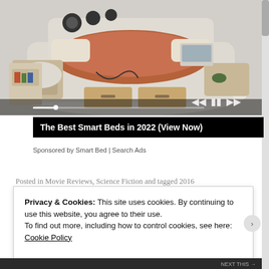[Figure (photo): Advertisement photo of a luxury smart bed with storage drawers, massage chair, speakers, and various built-in features, shown in cream/beige color with a reddish-brown bedspread.]
The Best Smart Beds in 2022 (View Now)
Sponsored by Smart Bed | Search Ads
Posted in Movie Reviews, Science Fiction and tagged 2016
Privacy & Cookies: This site uses cookies. By continuing to use this website, you agree to their use.
To find out more, including how to control cookies, see here: Cookie Policy
Close and accept